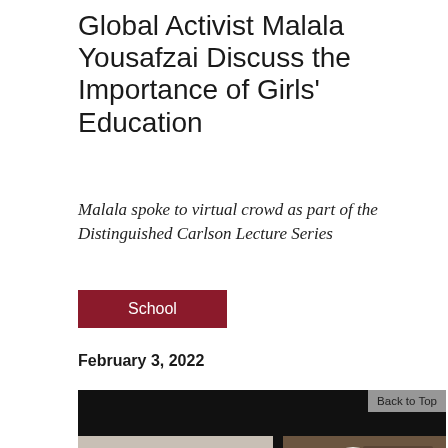Global Activist Malala Yousafzai Discuss the Importance of Girls' Education
Malala spoke to virtual crowd as part of the Distinguished Carlson Lecture Series
School
February 3, 2022
[Figure (photo): Screenshot of a virtual video call showing two participants: on the left, a woman wearing a black hijab in a room with a white/light background; on the right, Malala Yousafzai wearing a white headscarf with a painting visible in the background. A dark top bar contains a 'Back to Top' button on the right.]